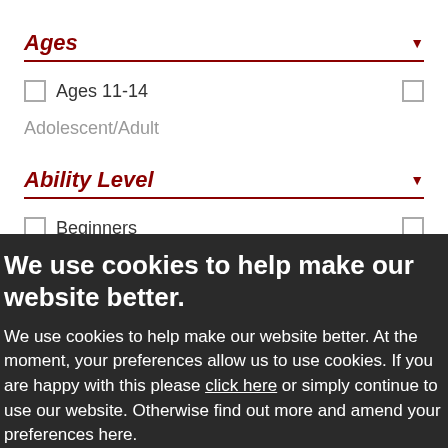Ages
Ages 11-14
Adolescent/Adult
Ability Level
Beginners
A1
A1.1
We use cookies to help make our website better.
We use cookies to help make our website better. At the moment, your preferences allow us to use cookies. If you are happy with this please click here or simply continue to use our website. Otherwise find out more and amend your preferences here.